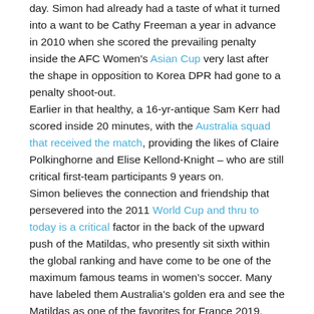day. Simon had already had a taste of what it turned into a want to be Cathy Freeman a year in advance in 2010 when she scored the prevailing penalty inside the AFC Women's Asian Cup very last after the shape in opposition to Korea DPR had gone to a penalty shoot-out.

Earlier in that healthy, a 16-yr-antique Sam Kerr had scored inside 20 minutes, with the Australia squad that received the match, providing the likes of Claire Polkinghorne and Elise Kellond-Knight – who are still critical first-team participants 9 years on.
Simon believes the connection and friendship that persevered into the 2011 World Cup and thru to today is a critical factor in the back of the upward push of the Matildas, who presently sit sixth within the global ranking and have come to be one of the maximum famous teams in women's soccer. Many have labeled them Australia's golden era and see the Matildas as one of the favorites for France 2019.